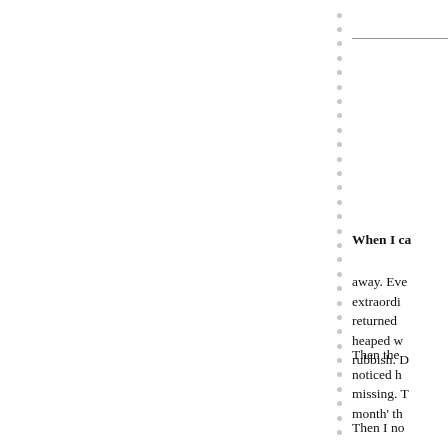When I ca
away. Eve extraordini returned heaped w rubbish. D
Then the noticed h missing. T month' th
Then I no